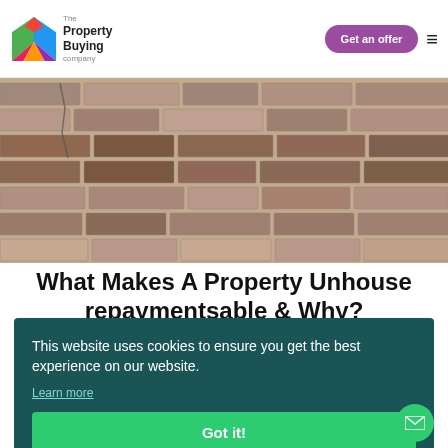[Figure (logo): The Property Buying Company logo with colorful house icon and text]
[Figure (photo): Close-up photo of a weathered brick wall with cracks]
What Makes A Property Unhouse repaymentsable & Why?
This website uses cookies to ensure you get the best experience on our website.
Learn more
Got it!